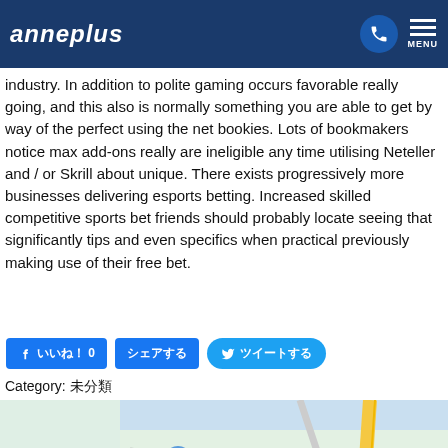anneplus | MENU
industry. In addition to polite gaming occurs favorable really going, and this also is normally something you are able to get by way of the perfect using the net bookies. Lots of bookmakers notice max add-ons really are ineligible any time utilising Neteller and / or Skrill about unique. There exists progressively more businesses delivering esports betting. Increased skilled competitive sports bet friends should probably locate seeing that significantly tips and even specifics when practical previously making use of their free bet.
いいね！ 0  シェアする  ツイートする
Category: 未分類
[Figure (map): Google Maps view showing Omura area in Japan with street labels including Sunset St, mura Line, Omura 大村, Omura Park 大村公園, NHO Nagasaki, route 38, route 34, PAGE TOP button]